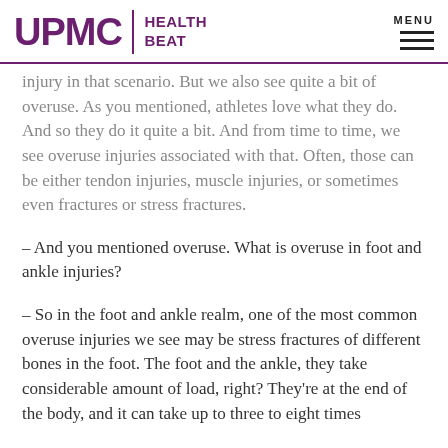UPMC | HEALTH BEAT
injury in that scenario. But we also see quite a bit of overuse. As you mentioned, athletes love what they do. And so they do it quite a bit. And from time to time, we see overuse injuries associated with that. Often, those can be either tendon injuries, muscle injuries, or sometimes even fractures or stress fractures.
– And you mentioned overuse. What is overuse in foot and ankle injuries?
– So in the foot and ankle realm, one of the most common overuse injuries we see may be stress fractures of different bones in the foot. The foot and the ankle, they take considerable amount of load, right? They're at the end of the body, and it can take up to three to eight times